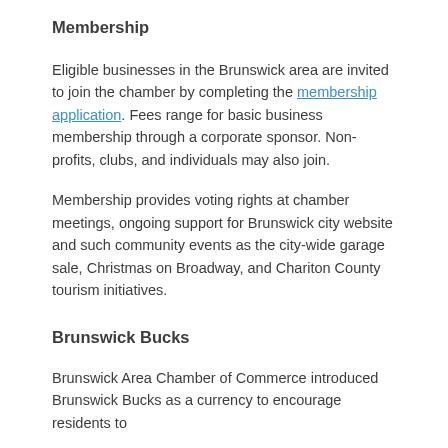Membership
Eligible businesses in the Brunswick area are invited to join the chamber by completing the membership application. Fees range for basic business membership through a corporate sponsor. Non-profits, clubs, and individuals may also join.
Membership provides voting rights at chamber meetings, ongoing support for Brunswick city website and such community events as the city-wide garage sale, Christmas on Broadway, and Chariton County tourism initiatives.
Brunswick Bucks
Brunswick Area Chamber of Commerce introduced Brunswick Bucks as a currency to encourage residents to